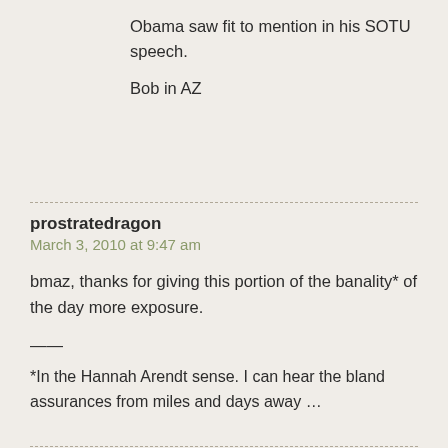Obama saw fit to mention in his SOTU speech.
Bob in AZ
prostratedragon
March 3, 2010 at 9:47 am
bmaz, thanks for giving this portion of the banality* of the day more exposure.
——
*In the Hannah Arendt sense. I can hear the bland assurances from miles and days away …